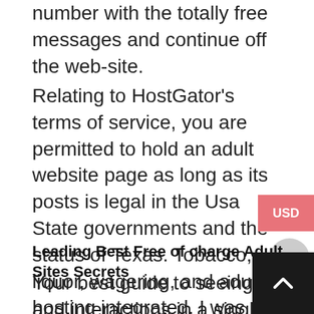number with the totally free messages and continue off the web-site.
Relating to HostGator's terms of service, you are permitted to hold an adult website page as long as its posts is legal in the Usa State governments and the status of Texas. Tobacco, liquor, wagering, and adult hosting integrated. I was also happy with Hostinger's client support. Its live chat is certainly obtainable 24/7, and the solutions are not only properly educated nevertheless quite friendly as properly.
Leading Best Free of charge Adult Sites Secrets
Your best guide to seeing and interactions in a single area. The most recent content, blogs and videos created by connection experts, journalists and eharmony's in-home